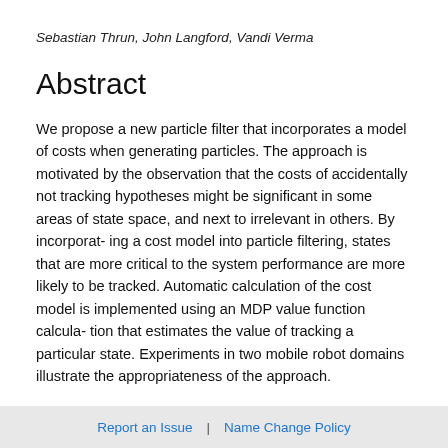Sebastian Thrun, John Langford, Vandi Verma
Abstract
We propose a new particle filter that incorporates a model of costs when generating particles. The approach is motivated by the observation that the costs of accidentally not tracking hypotheses might be significant in some areas of state space, and next to irrelevant in others. By incorporat- ing a cost model into particle filtering, states that are more critical to the system performance are more likely to be tracked. Automatic calculation of the cost model is implemented using an MDP value function calcula- tion that estimates the value of tracking a particular state. Experiments in two mobile robot domains illustrate the appropriateness of the approach.
Report an Issue  |  Name Change Policy